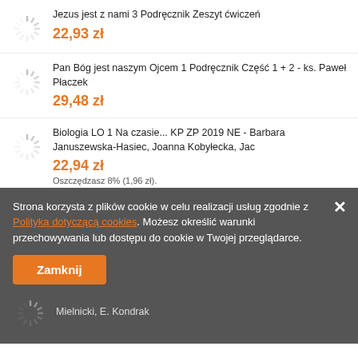Jezus jest z nami 3 Podręcznik Zeszyt ćwiczeń
22,93 zł
Pan Bóg jest naszym Ojcem 1 Podręcznik Część 1 + 2 - ks. Paweł Płaczek
29,48 zł
Biologia LO 1 Na czasie... KP ZP 2019 NE - Barbara Januszewska-Hasiec, Joanna Kobyłecka, Jac
22,94 zł
Oszczędzasz 8% (1,96 zł).
Strona korzysta z plików cookie w celu realizacji usług zgodnie z Polityką dotyczącą cookies. Możesz określić warunki przechowywania lub dostępu do cookie w Twojej przeglądarce.
Zamknij
Mielnicki, E. Kondrak